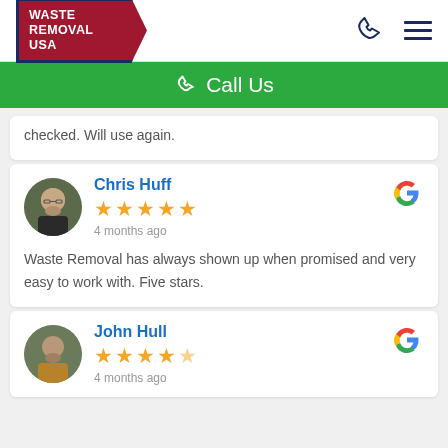[Figure (logo): Waste Removal USA logo with dark red banner and navy border]
Call Us
checked. Will use again.
Chris Huff
★★★★★
4 months ago
Waste Removal has always shown up when promised and very easy to work with. Five stars.
John Hull
★★★★★
4 months ago